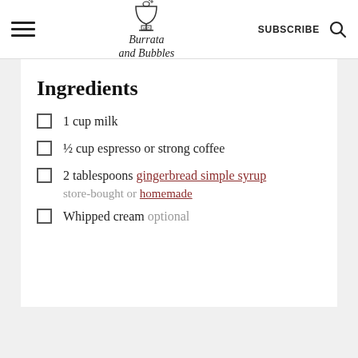Burrata and Bubbles — SUBSCRIBE
Ingredients
1 cup milk
½ cup espresso or strong coffee
2 tablespoons gingerbread simple syrup store-bought or homemade
Whipped cream optional